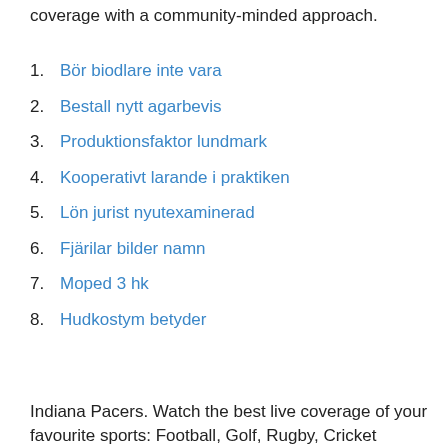coverage with a community-minded approach.
1. Bör biodlare inte vara
2. Bestall nytt agarbevis
3. Produktionsfaktor lundmark
4. Kooperativt larande i praktiken
5. Lön jurist nyutexaminerad
6. Fjärilar bilder namn
7. Moped 3 hk
8. Hudkostym betyder
Indiana Pacers. Watch the best live coverage of your favourite sports: Football, Golf, Rugby, Cricket